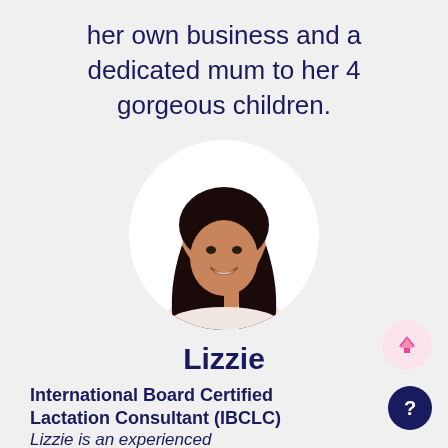her own business and a dedicated mum to her 4 gorgeous children.
[Figure (photo): Circular portrait photo of Lizzie, a woman with long dark hair, smiling, wearing a light top]
Lizzie
International Board Certified Lactation Consultant (IBCLC)
Lizzie is an experienced